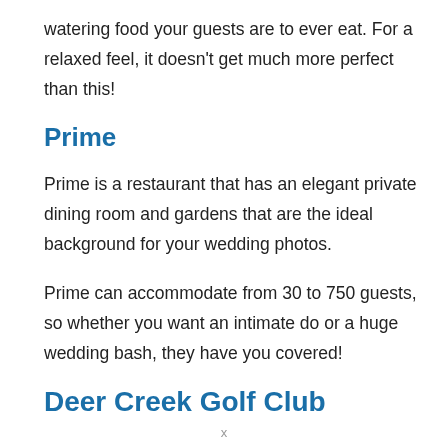watering food your guests are to ever eat. For a relaxed feel, it doesn’t get much more perfect than this!
Prime
Prime is a restaurant that has an elegant private dining room and gardens that are the ideal background for your wedding photos.
Prime can accommodate from 30 to 750 guests, so whether you want an intimate do or a huge wedding bash, they have you covered!
Deer Creek Golf Club